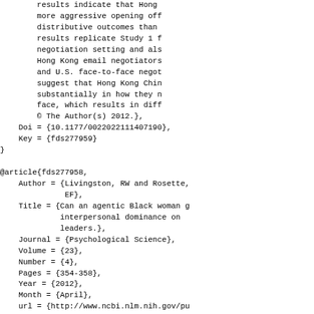results indicate that Hong more aggressive opening off distributive outcomes than results replicate Study 1 f negotiation setting and als Hong Kong email negotiators and U.S. face-to-face negot suggest that Hong Kong Chin substantially in how they n face, which results in diff © The Author(s) 2012.}, Doi = {10.1177/0022022111407190}, Key = {fds277959} } @article{fds277958, Author = {Livingston, RW and Rosette, EF}, Title = {Can an agentic Black woman g interpersonal dominance on leaders.}, Journal = {Psychological Science}, Volume = {23}, Number = {4}, Pages = {354-358}, Year = {2012}, Month = {April}, url = {http://www.ncbi.nlm.nih.gov/pu Abstract = {Prior research has demons behaviors, such as dominanc